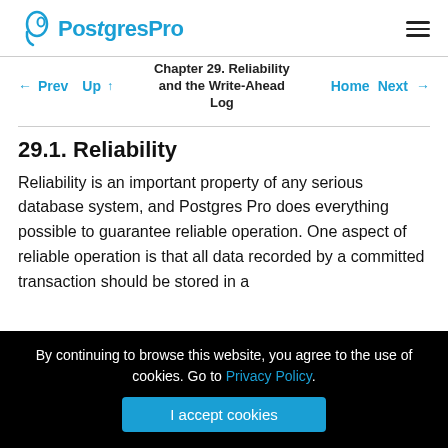PostgresPro
Chapter 29. Reliability and the Write-Ahead Log
← Prev  Up ↑  Home  Next →
29.1. Reliability
Reliability is an important property of any serious database system, and Postgres Pro does everything possible to guarantee reliable operation. One aspect of reliable operation is that all data recorded by a committed transaction should be stored in a
By continuing to browse this website, you agree to the use of cookies. Go to Privacy Policy.
I accept cookies